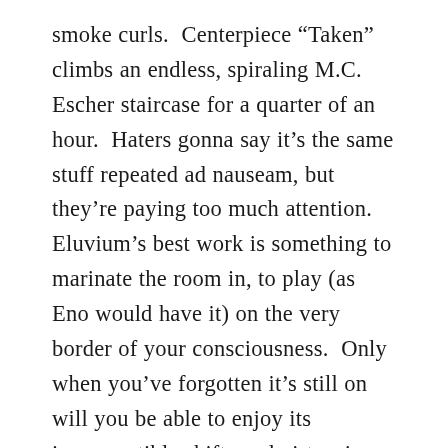smoke curls.  Centerpiece “Taken” climbs an endless, spiraling M.C. Escher staircase for a quarter of an hour.  Haters gonna say it’s the same stuff repeated ad nauseam, but they’re paying too much attention.  Eluvium’s best work is something to marinate the room in, to play (as Eno would have it) on the very border of your consciousness.  Only when you’ve forgotten it’s still on will you be able to enjoy its imperceptible shifts and virtuosic decays.  Loops recycle and degrade, coalesce and split, elemental against a backdrop of pure white annihilating fog.  In a word: prehistoric.